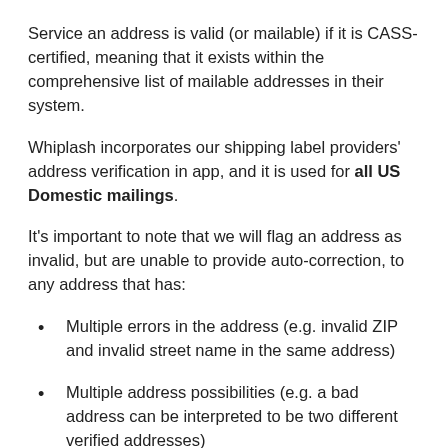Service an address is valid (or mailable) if it is CASS-certified, meaning that it exists within the comprehensive list of mailable addresses in their system.
Whiplash incorporates our shipping label providers' address verification in app, and it is used for all US Domestic mailings.
It's important to note that we will flag an address as invalid, but are unable to provide auto-correction, to any address that has:
Multiple errors in the address (e.g. invalid ZIP and invalid street name in the same address)
Multiple address possibilities (e.g. a bad address can be interpreted to be two different verified addresses)
In short, our address verification tool will correct to a reasonable extent, but it's much safer for you if we flag these